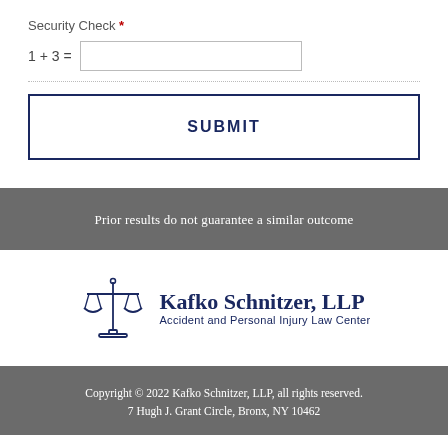Security Check *
SUBMIT
Prior results do not guarantee a similar outcome
[Figure (logo): Kafko Schnitzer, LLP scales of justice logo with text 'Kafko Schnitzer, LLP Accident and Personal Injury Law Center']
Copyright © 2022 Kafko Schnitzer, LLP, all rights reserved.
7 Hugh J. Grant Circle, Bronx, NY 10462